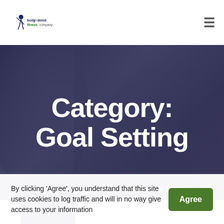[Figure (logo): Body and Mind Fitness Company logo with stylized figure]
Category: Goal Setting
Body and Mind Fitness / Blog / Goal Setting
9
By clicking 'Agree', you understand that this site uses cookies to log traffic and will in no way give access to your information